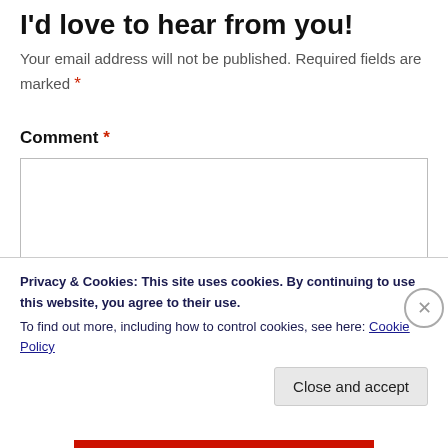I'd love to hear from you!
Your email address will not be published. Required fields are marked *
Comment *
[Figure (other): Empty comment text area input field with a light grey border]
Privacy & Cookies: This site uses cookies. By continuing to use this website, you agree to their use.
To find out more, including how to control cookies, see here: Cookie Policy
Close and accept